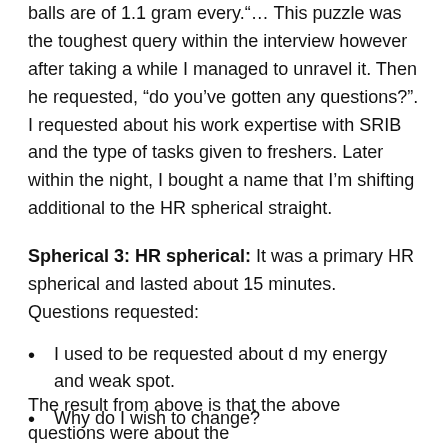balls are of 1.1 gram every."… This puzzle was the toughest query within the interview however after taking a while I managed to unravel it. Then he requested, "do you've gotten any questions?". I requested about his work expertise with SRIB and the type of tasks given to freshers. Later within the night, I bought a name that I'm shifting additional to the HR spherical straight.
Spherical 3: HR spherical: It was a primary HR spherical and lasted about 15 minutes. Questions requested:
I used to be requested about d my energy and weak spot.
Why do I wish to change?
Present bundle and in-hand wage
Prepared to relocate?
The result from above is that the above questions were about the